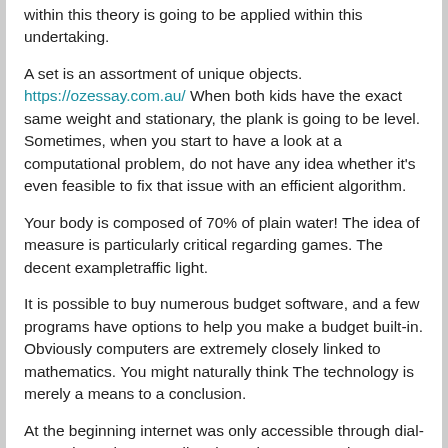within this theory is going to be applied within this undertaking.
A set is an assortment of unique objects. https://ozessay.com.au/ When both kids have the exact same weight and stationary, the plank is going to be level. Sometimes, when you start to have a look at a computational problem, do not have any idea whether it's even feasible to fix that issue with an efficient algorithm.
Your body is composed of 70% of plain water! The idea of measure is particularly critical regarding games. The decent exampletraffic light.
It is possible to buy numerous budget software, and a few programs have options to help you make a budget built-in. Obviously computers are extremely closely linked to mathematics. You might naturally think The technology is merely a means to a conclusion.
At the beginning internet was only accessible through dial-up modems that were directly on the computer by means of a serial cable without the necessity of a neighborhood area network. Such a machine is called non-deterministic. Today, being fluent in machine learning